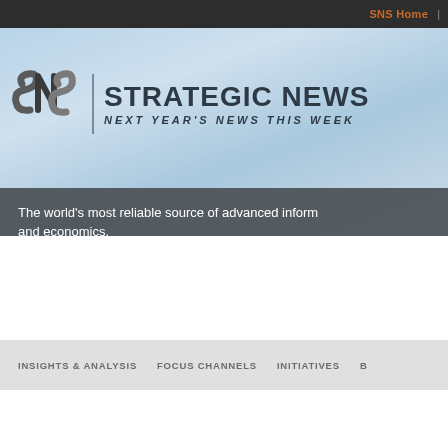SNS Home |
[Figure (logo): SNS Strategic News Service logo with stylized SNS monogram and text 'STRATEGIC NEWS' and tagline 'NEXT YEAR'S NEWS THIS WEEK' on a sky-blue gradient background]
The world's most reliable source of advanced inform... and economics.
INSIGHTS & ANALYSIS   FOCUS CHANNELS   INITIATIVES   B
[Figure (logo): SNS Interactive logo with stylized SNS monogram and 'INTERA...' text]